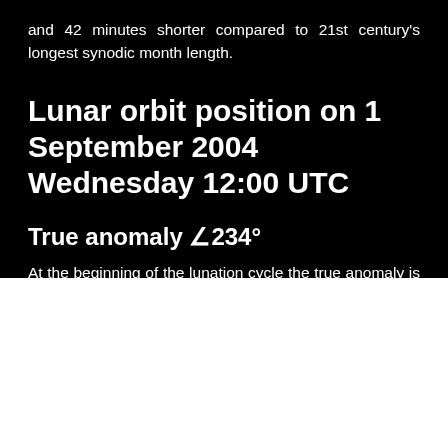and 42 minutes shorter compared to 21st century's longest synodic month length.
Lunar orbit position on 1 September 2004 Wednesday 12:00 UTC
True anomaly ∠234°
At the beginning of the lunation cycle the true anomaly is ∠234°. At the beginning of next synodic month the true